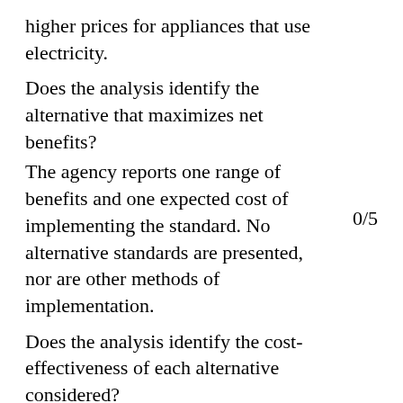higher prices for appliances that use electricity.
Does the analysis identify the alternative that maximizes net benefits?
The agency reports one range of benefits and one expected cost of implementing the standard. No alternative standards are presented, nor are other methods of implementation.
0/5
Does the analysis identify the cost-effectiveness of each alternative considered?
No alternative standards or implementation methods are
0/5